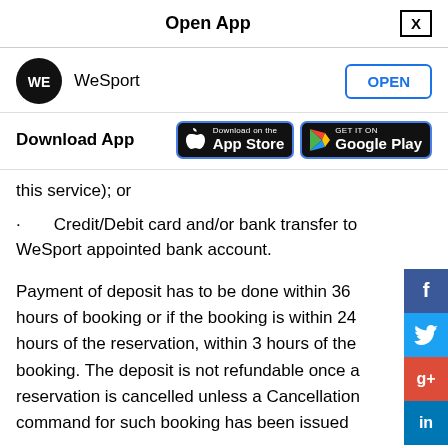Open App
[Figure (screenshot): WeSport app logo (circular black logo with WE text) with OPEN button and Download App section showing App Store and Google Play badges]
this service); or
Credit/Debit card and/or bank transfer to WeSport appointed bank account.
Payment of deposit has to be done within 36 hours of booking or if the booking is within 24 hours of the reservation, within 3 hours of the booking. The deposit is not refundable once a reservation is cancelled unless a Cancellation command for such booking has been issued